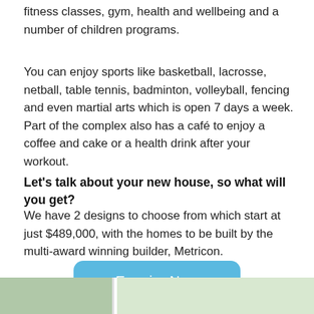fitness classes, gym, health and wellbeing and a number of children programs.
You can enjoy sports like basketball, lacrosse, netball, table tennis, badminton, volleyball, fencing and even martial arts which is open 7 days a week. Part of the complex also has a café to enjoy a coffee and cake or a health drink after your workout.
Let's talk about your new house, so what will you get?
We have 2 designs to choose from which start at just $489,000, with the homes to be built by the multi-award winning builder, Metricon.
[Figure (other): Blue rounded rectangle button with text 'Enquire Now']
[Figure (photo): Partial image strip at the bottom of the page showing a house or outdoor scene]